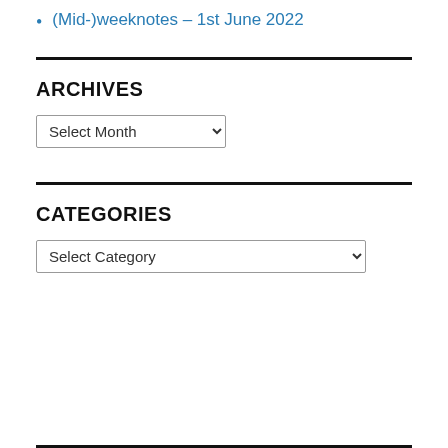(Mid-)weeknotes – 1st June 2022
ARCHIVES
Select Month (dropdown)
CATEGORIES
Select Category (dropdown)